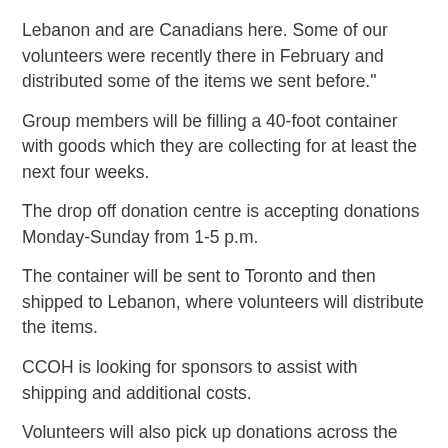Lebanon and are Canadians here. Some of our volunteers were recently there in February and distributed some of the items we sent before."
Group members will be filling a 40-foot container with goods which they are collecting for at least the next four weeks.
The drop off donation centre is accepting donations Monday-Sunday from 1-5 p.m.
The container will be sent to Toronto and then shipped to Lebanon, where volunteers will distribute the items.
CCOH is looking for sponsors to assist with shipping and additional costs.
Volunteers will also pick up donations across the region.
If you would like to donate your items click here.